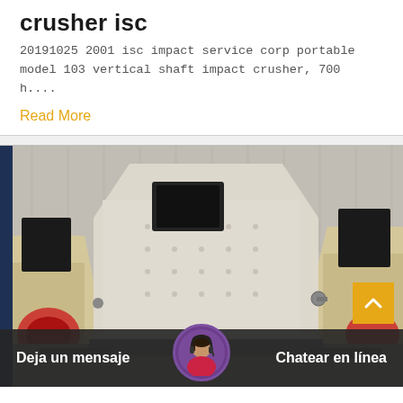crusher isc
20191025 2001 isc impact service corp portable model 103 vertical shaft impact crusher, 700 h....
Read More
[Figure (photo): Industrial impact crusher machinery in a warehouse/factory setting. Large off-white/cream colored impact crusher with black panels, surrounded by other heavy machinery. Dark blue vertical bar on the left edge.]
Deja un mensaje    Chatear en línea